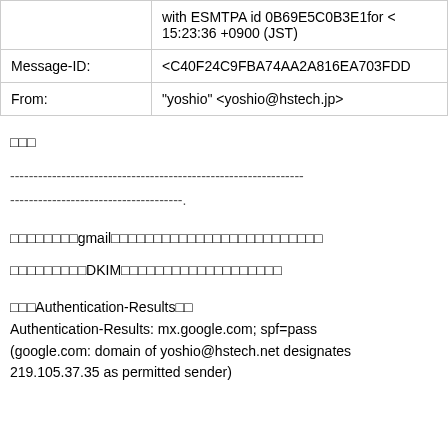|  | with ESMTPA id 0B69E5C0B3E1for <
15:23:36 +0900 (JST) |
| Message-ID: | <C40F24C9FBA74AA2A816EA703FDD... |
| From: | "yoshio" <yoshio@hstech.jp> |
□□□
----------------------------------------------------------------------
----------------------------------.
□□□□□□□□gmail□□□□□□□□□□□□□□□□□□□□□□□□□
□□□□□□□□□DKIM□□□□□□□□□□□□□□□□□□□
□□□Authentication-Results□□
Authentication-Results: mx.google.com; spf=pass
(google.com: domain of yoshio@hstech.net designates
219.105.37.35 as permitted sender)